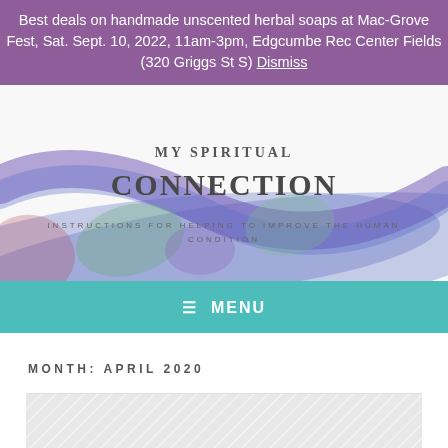Best deals on handmade unscented herbal soaps at Mac-Grove Fest, Sat. Sept. 10, 2022, 11am-3pm, Edgcumbe Rec Center Fields (320 Griggs St S) Dismiss
[Figure (illustration): Website header image with watercolor ribbon design in blue, green, purple, and pink colors. Text overlay reads 'MY SPIRITUAL CONNECTION' with subtitle 'INSTRUCTIONS FOR HELPING TO IMPROVE THE HUMAN CONDITION']
≡ MENU
MONTH: APRIL 2020